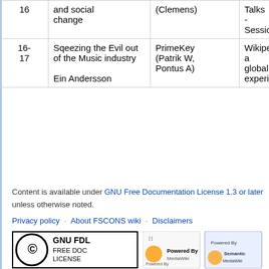|  |  |  |  |
| --- | --- | --- | --- |
| 16 | and social change | (Clemens) | Talks - Session |
| 16-17 | Sqeezing the Evil out of the Music industry

Ein Andersson | PrimeKey (Patrik W, Pontus A) | Wikiped a global experim |
Content is available under GNU Free Documentation License 1.3 or later unless otherwise noted.
Privacy policy · About FSCONS wiki · Disclaimers
[Figure (logo): GNU FDL Free Doc License badge]
[Figure (logo): Powered by MediaWiki and Powered by Semantic MediaWiki badges]